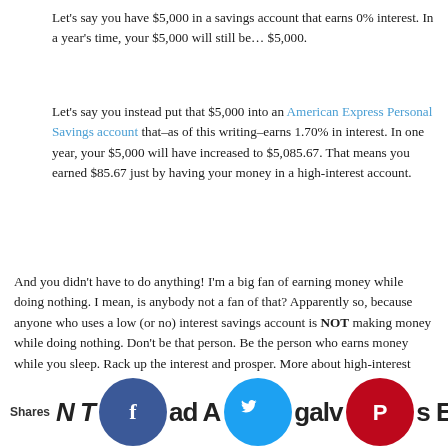Let's say you have $5,000 in a savings account that earns 0% interest. In a year's time, your $5,000 will still be… $5,000.
Let's say you instead put that $5,000 into an American Express Personal Savings account that–as of this writing–earns 1.70% in interest. In one year, your $5,000 will have increased to $5,085.67. That means you earned $85.67 just by having your money in a high-interest account.
And you didn't have to do anything! I'm a big fan of earning money while doing nothing. I mean, is anybody not a fan of that? Apparently so, because anyone who uses a low (or no) interest savings account is NOT making money while doing nothing. Don't be that person. Be the person who earns money while you sleep. Rack up the interest and prosper. More about high-interest savings accounts, as well as the ones I recommend, is here: The Best High Interest Rate Online Savings Accounts.